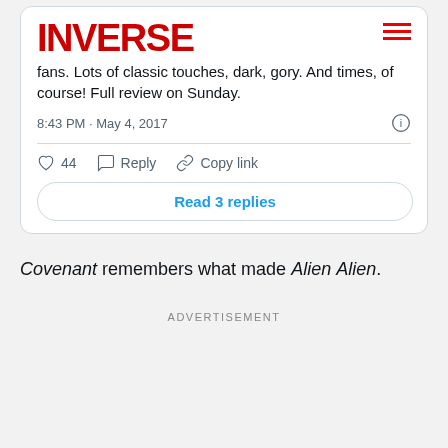[Figure (screenshot): Embedded tweet card from Inverse account showing partial tweet text about Alien: Covenant with like, reply, copy link actions and Read 3 replies button]
Covenant remembers what made Alien Alien.
ADVERTISEMENT